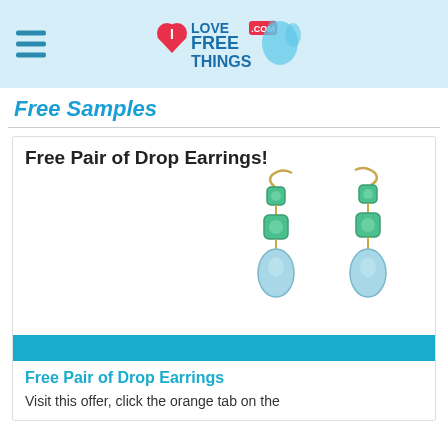ILoveFreeThings.com logo and navigation
Free Samples
Free Pair of Drop Earrings!
[Figure (photo): Photo of a pair of gold drop earrings with turquoise/teal gemstones]
Free Pair of Drop Earrings
Visit this offer, click the orange tab on the